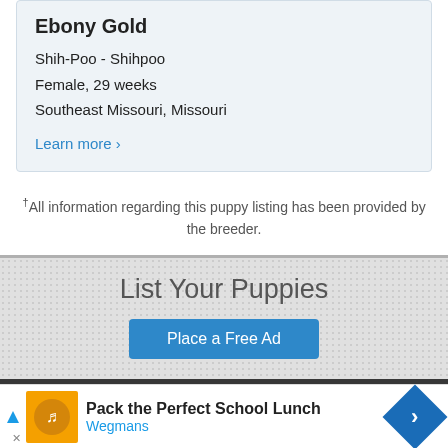Ebony Gold
Shih-Poo - Shihpoo
Female, 29 weeks
Southeast Missouri, Missouri
Learn more ›
†All information regarding this puppy listing has been provided by the breeder.
List Your Puppies
Place a Free Ad
COMPANY LINKS
Advertising Plans
About Us
Privacy P...
[Figure (other): Advertisement banner: Pack the Perfect School Lunch - Wegmans, with orange image and blue diamond logo]